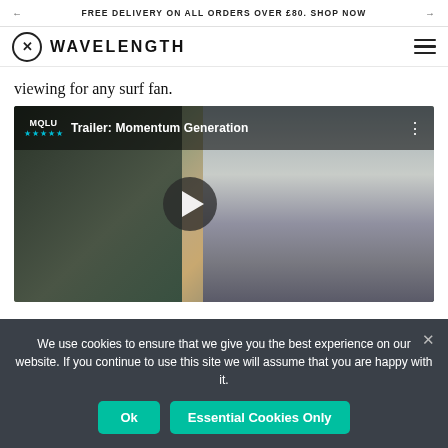FREE DELIVERY ON ALL ORDERS OVER £80. SHOP NOW
WAVELENGTH
viewing for any surf fan.
[Figure (screenshot): YouTube-style video thumbnail showing 'Trailer: Momentum Generation' with a play button overlay. The thumbnail shows a man in a light blue shirt against a blurred indoor background. The video has a movie logo with stars in the top-left corner and a three-dot menu in the top-right.]
We use cookies to ensure that we give you the best experience on our website. If you continue to use this site we will assume that you are happy with it.
Ok
Essential Cookies Only